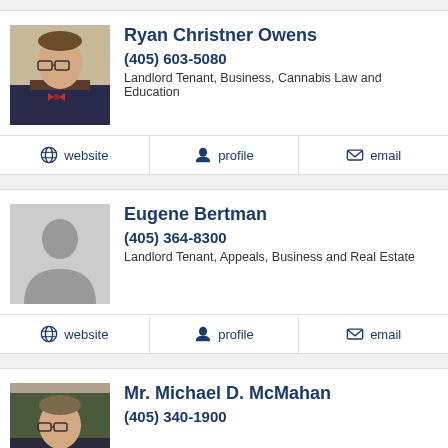Ryan Christner Owens
(405) 603-5080
Landlord Tenant, Business, Cannabis Law and Education
Eugene Bertman
(405) 364-8300
Landlord Tenant, Appeals, Business and Real Estate
Mr. Michael D. McMahan
(405) 340-1900